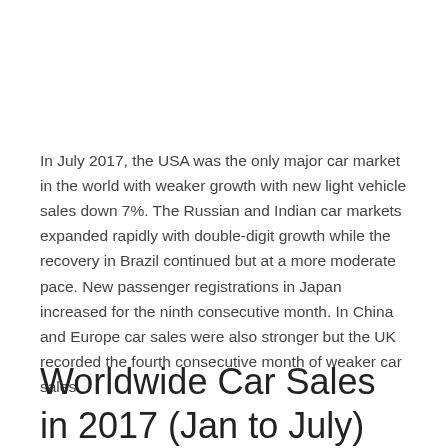In July 2017, the USA was the only major car market in the world with weaker growth with new light vehicle sales down 7%. The Russian and Indian car markets expanded rapidly with double-digit growth while the recovery in Brazil continued but at a more moderate pace. New passenger registrations in Japan increased for the ninth consecutive month. In China and Europe car sales were also stronger but the UK recorded the fourth consecutive month of weaker car sales.
Worldwide Car Sales in 2017 (Jan to July)